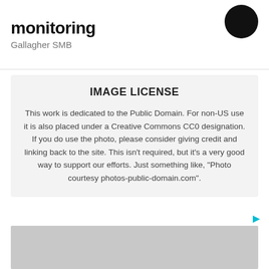monitoring
Gallagher SMB
IMAGE LICENSE
This work is dedicated to the Public Domain. For non-US use it is also placed under a Creative Commons CC0 designation. If you do use the photo, please consider giving credit and linking back to the site. This isn't required, but it's a very good way to support our efforts. Just something like, "Photo courtesy photos-public-domain.com".
[Figure (other): Advertisement placeholder — gray rectangle]